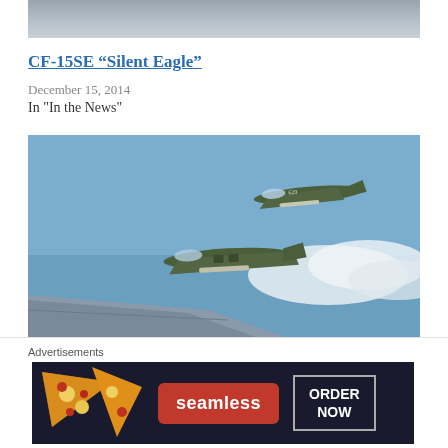[Figure (photo): Partial top view of a gray military aircraft fuselage, cropped at top]
CF-15SE “Silent Eagle”
December 15, 2014
In "In the News"
[Figure (photo): Two F-4 Phantom military jet fighters flying in formation against a blue sky with clouds, viewed from another aircraft showing part of the wing]
Partially visible linked article title below the photo
Advertisements
[Figure (photo): Seamless food delivery advertisement banner showing pizza slices on the left, Seamless red logo button in the center, and ORDER NOW button on the right, on a dark background]